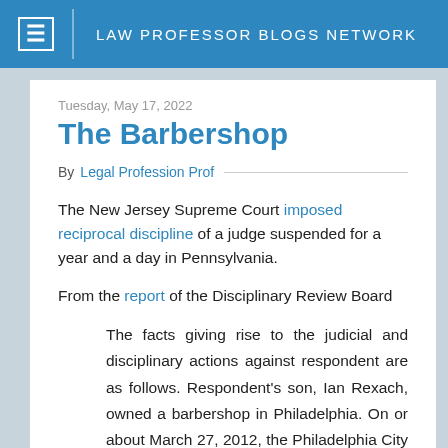LAW PROFESSOR BLOGS NETWORK
Tuesday, May 17, 2022
The Barbershop
By Legal Profession Prof
The New Jersey Supreme Court imposed reciprocal discipline of a judge suspended for a year and a day in Pennsylvania.
From the report of the Disciplinary Review Board
The facts giving rise to the judicial and disciplinary actions against respondent are as follows. Respondent’s son, Ian Rexach, owned a barbershop in Philadelphia. On or about March 27, 2012, the Philadelphia City Solicitor’s Office filed a complaint in